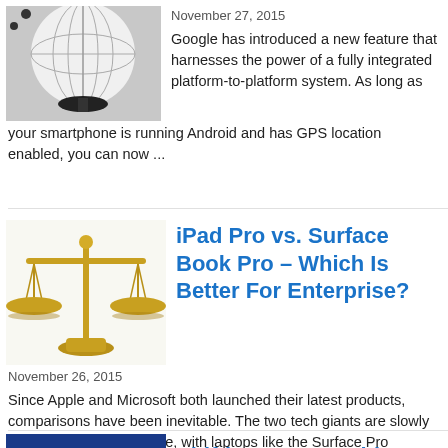[Figure (photo): Globe on a black stand, partially visible, top portion of image]
November 27, 2015
Google has introduced a new feature that harnesses the power of a fully integrated platform-to-platform system. As long as your smartphone is running Android and has GPS location enabled, you can now ...
[Figure (photo): Golden balance scales on white background]
iPad Pro vs. Surface Book Pro – Which Is Better For Enterprise?
November 26, 2015
Since Apple and Microsoft both launched their latest products, comparisons have been inevitable. The two tech giants are slowly moving toward the middle, with laptops like the Surface Pro becoming more like tablets, ...
[Figure (photo): Blue background with EMV chip card/coin visible at the bottom]
Shifting to EMV Chip